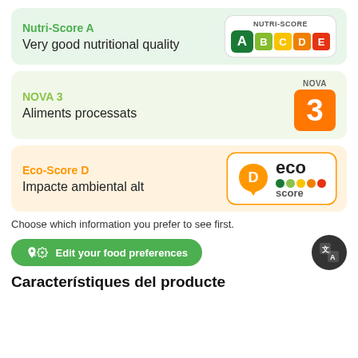Nutri-Score A
Very good nutritional quality
[Figure (infographic): Nutri-Score badge showing A B C D E letters, A highlighted in dark green]
NOVA 3
Aliments processats
[Figure (infographic): NOVA 3 badge with orange square and number 3]
Eco-Score D
Impacte ambiental alt
[Figure (infographic): Eco-Score badge with orange leaf shape containing D, and eco score text with colored dots]
Choose which information you prefer to see first.
Edit your food preferences
Característiques del producte